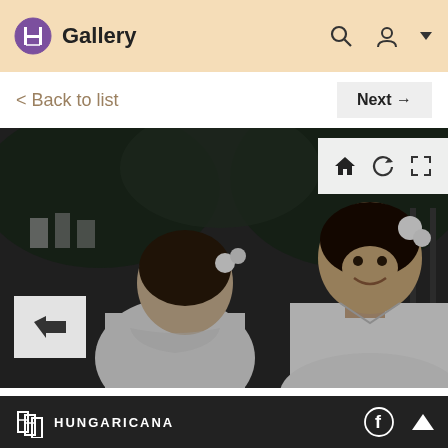Gallery
< Back to list
Next →
[Figure (photo): Black and white photograph of two girls wearing white blouses with flowers in their hair, facing each other outdoors with trees and a fence in the background.]
HUNGARICANA